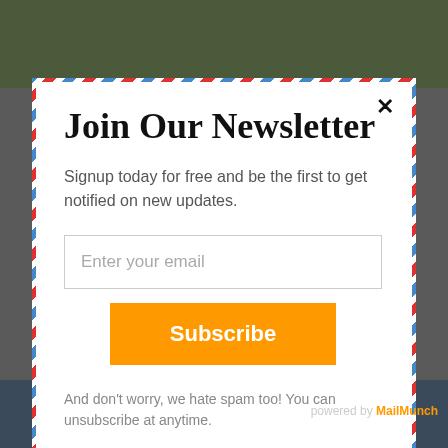[Figure (screenshot): Background photo showing trees/forest at top and mountains at bottom, with dark overlay]
Join Our Newsletter
Signup today for free and be the first to get notified on new updates.
Enter your email
Subscribe
And don't worry, we hate spam too! You can unsubscribe at anytime.
powered by MailMunch